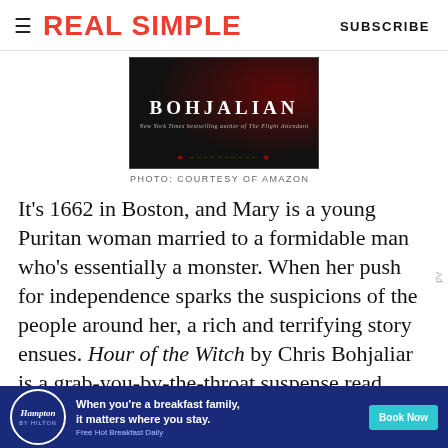REAL SIMPLE   SUBSCRIBE
[Figure (photo): Book cover showing 'BOHJALIAN' text with red accent lighting and subtitle 'New York Times bestselling author of The Flight Attendant']
PHOTO: COURTESY OF AMAZON
It's 1662 in Boston, and Mary is a young Puritan woman married to a formidable man who's essentially a monster. When her push for independence sparks the suspicions of the people around her, a rich and terrifying story ensues. Hour of the Witch by Chris Bohjalian is a grab-you-by-the-throat suspense read
[Figure (other): Hampton by Hilton advertisement: 'When you're a breakfast family, it matters where you stay. Free Hot Breakfast Daily' with Book Now button]